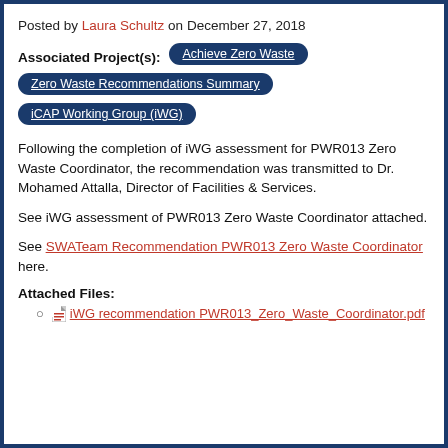Posted by Laura Schultz on December 27, 2018
Associated Project(s): Achieve Zero Waste | Zero Waste Recommendations Summary | iCAP Working Group (iWG)
Following the completion of iWG assessment for PWR013 Zero Waste Coordinator, the recommendation was transmitted to Dr. Mohamed Attalla, Director of Facilities & Services.
See iWG assessment of PWR013 Zero Waste Coordinator attached.
See SWATeam Recommendation PWR013 Zero Waste Coordinator here.
Attached Files:
iWG recommendation PWR013_Zero_Waste_Coordinator.pdf